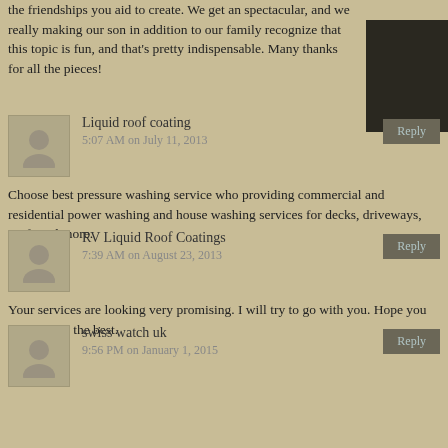the friendships you aid to create. We get an spectacular, and we really making our son in addition to our family recognize that this topic is fun, and that's pretty indispensable. Many thanks for all the pieces!
Liquid roof coating
5:07 AM on July 11, 2013
Choose best pressure washing service who providing commercial and residential power washing and house washing services for decks, driveways, roofs and more.
RV Liquid Roof Coatings
7:39 AM on August 23, 2013
Your services are looking very promising. I will try to go with you. Hope you will deliver the best.
swiss watch uk
9:56 PM on January 1, 2015
I was more than happy to find this internet-site.I wished to thanks for your time for this wonderful learn!! I undoubtedly enjoying every little bit of it and I've you bookmarked to take a look at new stuff you weblog post.
tinyurl.com/hdukk7a
9:18 AM on February 18, 2016